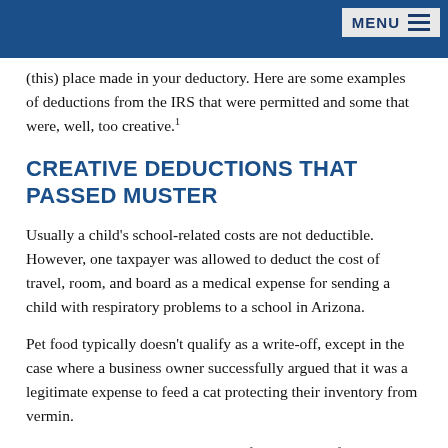MENU
(this) place made in your deductory. Here are some examples of deductions from the IRS that were permitted and some that were, well, too creative.¹
CREATIVE DEDUCTIONS THAT PASSED MUSTER
Usually a child's school-related costs are not deductible. However, one taxpayer was allowed to deduct the cost of travel, room, and board as a medical expense for sending a child with respiratory problems to a school in Arizona.
Pet food typically doesn't qualify as a write-off, except in the case where a business owner successfully argued that it was a legitimate expense to feed a cat protecting their inventory from vermin.
Does your child have an overbite? If so, you may find that the IRS is okay with a medical deduction for the cost of a clarinet (and lessons) to correct it.